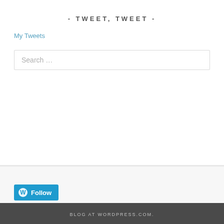- TWEET, TWEET -
My Tweets
Search …
[Figure (other): WordPress Follow button with WP logo icon and 'Follow' text on a blue background]
BLOG AT WORDPRESS.COM.